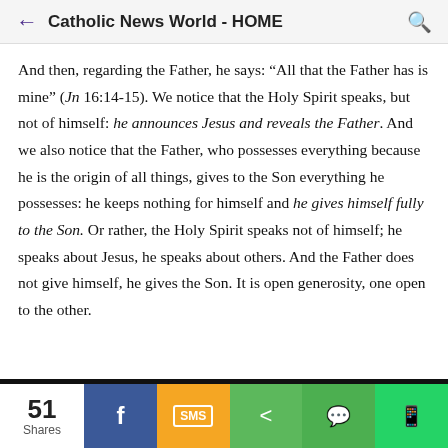Catholic News World - HOME
And then, regarding the Father, he says: “All that the Father has is mine” (Jn 16:14-15). We notice that the Holy Spirit speaks, but not of himself: he announces Jesus and reveals the Father. And we also notice that the Father, who possesses everything because he is the origin of all things, gives to the Son everything he possesses: he keeps nothing for himself and he gives himself fully to the Son. Or rather, the Holy Spirit speaks not of himself; he speaks about Jesus, he speaks about others. And the Father does not give himself, he gives the Son. It is open generosity, one open to the other.
[Figure (infographic): Social share bar with 51 Shares count, and buttons for Facebook, SMS, Share, WeChat, and WhatsApp]